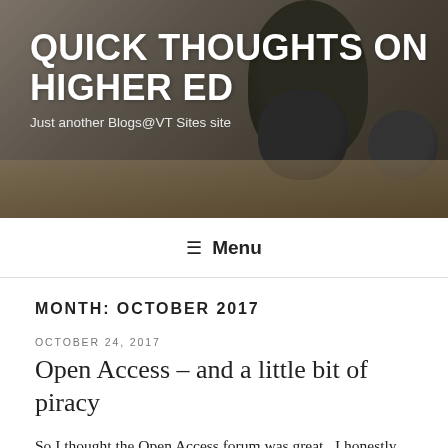[Figure (photo): Blog header banner photo showing succulents/plants in dark round pots on a wooden table, with dark overlay]
QUICK THOUGHTS ON HIGHER ED
Just another Blogs@VT Sites site
≡ Menu
MONTH: OCTOBER 2017
OCTOBER 24, 2017
Open Access – and a little bit of piracy
So I thought the Open Access forum was great.  I honestly had no idea what open access was all about.  I was a little skeptical when I heard the term for the first time since I find some of the more idealistic terms and movements end up being just that, idealistic and not